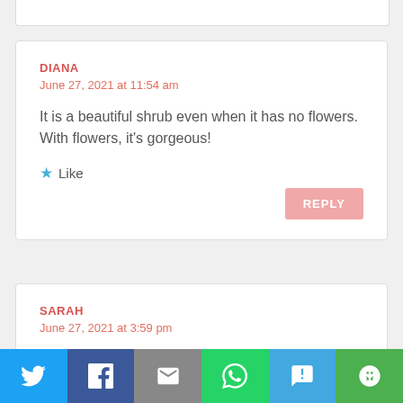DIANA
June 27, 2021 at 11:54 am
It is a beautiful shrub even when it has no flowers. With flowers, it's gorgeous!
Like
REPLY
SARAH
June 27, 2021 at 3:59 pm
Beautiful! I have only grown them in pots on